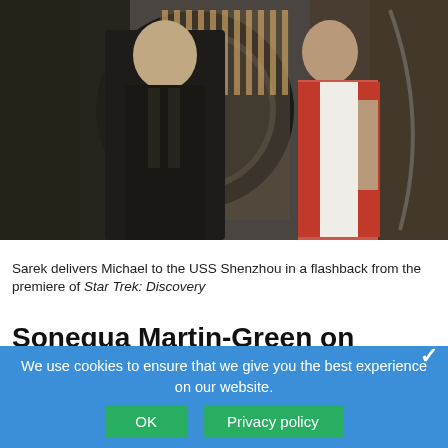[Figure (photo): Two actors in Star Trek costumes — a man in dark outfit on left, a woman in red and white uniform on right, standing in a futuristic sci-fi setting with circular design elements in background]
Sarek delivers Michael to the USS Shenzhou in a flashback from the premiere of Star Trek: Discovery
Sonequa Martin-Green on Michael Burnham after the death of Capt. Georgiou
In an interview with W Magazine, Sonequa Martin-Green talks about how the death of Captain Georgiou will influence the arc of Michael Burnham throughout the first season:
We use cookies to ensure that we give you the best experience on our website.
OK   Privacy policy